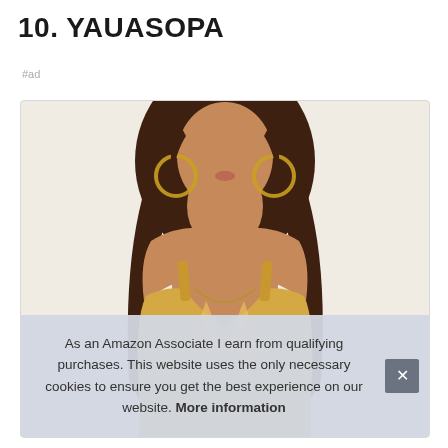10. YAUASOPA
#ad
[Figure (photo): Product photo of a woman wearing a gold/metallic sleeveless top with V-neck, shown from shoulders to waist. She has long brown wavy hair and large hoop earrings. The image is cropped close showing the upper torso.]
As an Amazon Associate I earn from qualifying purchases. This website uses the only necessary cookies to ensure you get the best experience on our website. More information